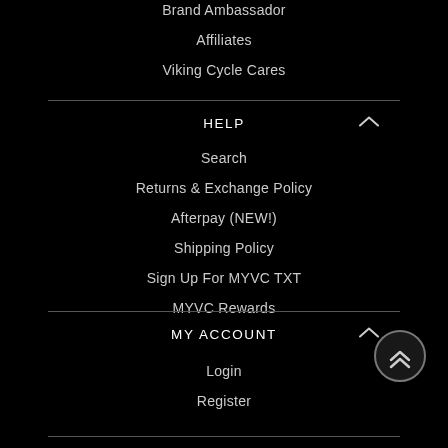Brand Ambassador
Affiliates
Viking Cycle Cares
HELP
Search
Returns & Exchange Policy
Afterpay (NEW!)
Shipping Policy
Sign Up For MYVC TXT
MYVC Rewards
MY ACCOUNT
Login
Register